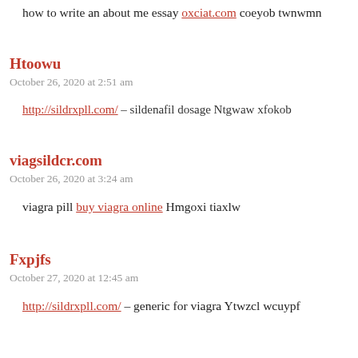how to write an about me essay oxciat.com coeyob twnwmn
Htoowu
October 26, 2020 at 2:51 am
http://sildrxpll.com/ – sildenafil dosage Ntgwaw xfokob
viagsildcr.com
October 26, 2020 at 3:24 am
viagra pill buy viagra online Hmgoxi tiaxlw
Fxpjfs
October 27, 2020 at 12:45 am
http://sildrxpll.com/ – generic for viagra Ytwzcl wcuypf